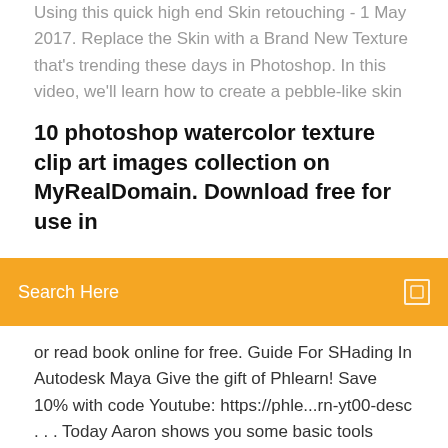Using this quick high end Skin retouching - 1 May 2017. Replace the Skin with a Brand New Texture that's trending these days in Photoshop. In this video, we'll learn how to create a pebble-like skin
10 photoshop watercolor texture clip art images collection on MyRealDomain. Download free for use in
Search Here
or read book online for free. Guide For SHading In Autodesk Maya Give the gift of Phlearn! Save 10% with code Youtube: https://phle...rn-yt00-desc . . . Today Aaron shows you some basic tools thaProfessional Skin Softning New Method in #Photoshop cc 2019...https://youtube.com/watch28. 11. 201821 tis. zhlédnutíPhoto Download Link:- https://gplinks.in/42jg Download Link2:- https://ckk.ai/DfsznHW Download Link3:- https://ckk.ai/N5E9f —Adding Texture to a Portrait - Photoshop (CS5) -